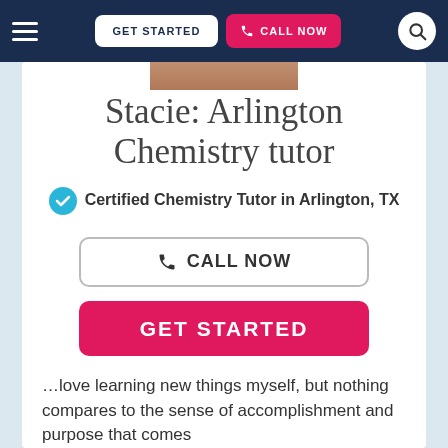GET STARTED | CALL NOW
[Figure (photo): Partial photo of tutor Stacie at top of card]
Stacie: Arlington Chemistry tutor
Certified Chemistry Tutor in Arlington, TX
CALL NOW
GET STARTED
…love learning new things myself, but nothing compares to the sense of accomplishment and purpose that comes